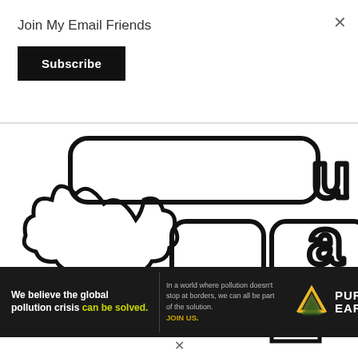Join My Email Friends
Subscribe
[Figure (illustration): Outline illustration of a school bus with a tree/bush beside it, partially cropped. Letters 'u', 'a', 'r' visible on the right side cropped from a word. Black line art on white background.]
[Figure (infographic): Pure Earth advertisement banner. Left section: 'We believe the global pollution crisis can be solved.' (can be solved in green/yellow). Middle: 'In a world where pollution doesn't stop at borders, we can all be part of the solution. JOIN US.' Right: Pure Earth logo with layered diamond/triangle icon and text PURE EARTH.]